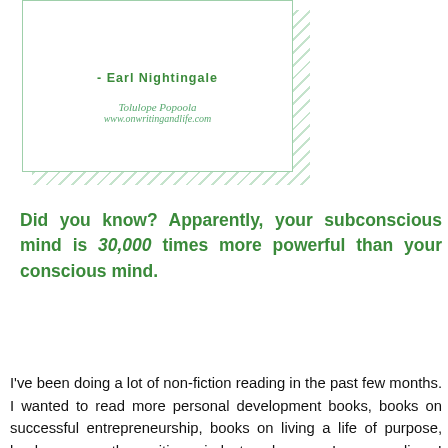[Figure (illustration): Quote card with hatched background border showing attribution to Earl Nightingale, author name Tolulope Popoola and website www.onwritingandlife.com]
Did you know? Apparently, your subconscious mind is 30,000 times more powerful than your conscious mind.
I've been doing a lot of non-fiction reading in the past few months. I wanted to read more personal development books, books on successful entrepreneurship, books on living a life of purpose, books on growth, positive mindset and so on. In my reading, I stumbled upon some concepts around harnessing the power of the subconscious mind. These concepts are not new, in fact they've existed since the beginning of time, but I was reading them this time, with the intention to apply these principles to my life, especially when it comes to setting my big goals and putting things in place to achieve them. I've also learned about the power of my